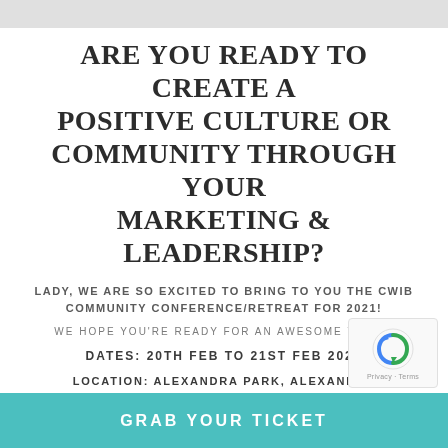ARE YOU READY TO CREATE A POSITIVE CULTURE OR COMMUNITY THROUGH YOUR MARKETING & LEADERSHIP?
LADY, WE ARE SO EXCITED TO BRING TO YOU THE CWIB COMMUNITY CONFERENCE/RETREAT FOR 2021!
WE HOPE YOU'RE READY FOR AN AWESOME TIME...
DATES: 20TH FEB TO 21ST FEB 2021
LOCATION: ALEXANDRA PARK, ALEXANDRA HEADLANDS, SUNSHINE COAST, QLD, AUSTRALIA
GRAB YOUR TICKET